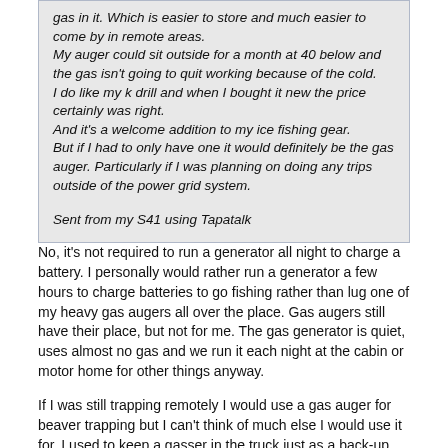gas in it. Which is easier to store and much easier to come by in remote areas.
My auger could sit outside for a month at 40 below and the gas isn't going to quit working because of the cold.
I do like my k drill and when I bought it new the price certainly was right.
And it's a welcome addition to my ice fishing gear.
But if I had to only have one it would definitely be the gas auger. Particularly if I was planning on doing any trips outside of the power grid system.

Sent from my S41 using Tapatalk
No, it's not required to run a generator all night to charge a battery. I personally would rather run a generator a few hours to charge batteries to go fishing rather than lug one of my heavy gas augers all over the place. Gas augers still have their place, but not for me. The gas generator is quiet, uses almost no gas and we run it each night at the cabin or motor home for other things anyway.
If I was still trapping remotely I would use a gas auger for beaver trapping but I can't think of much else I would use it for. I used to keep a gasser in the truck just as a back-up, but I never used it.
I still own three gas augers and I'm not ready to sell them yet but if I go two or three more years without sparking one up, I'll probl'y get rid of them. They're just taking up room in the pole barn right now.
I've never pulled a starter cord out of my electric and I don't have to